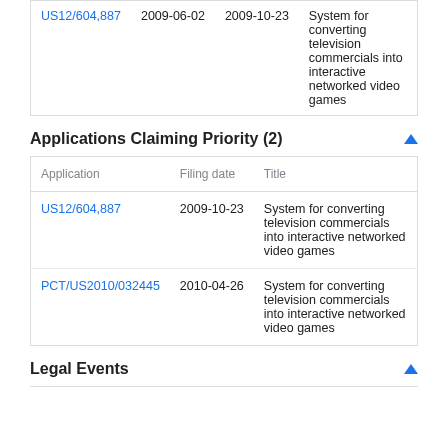| Application | Filing date | Priority date | Title |
| --- | --- | --- | --- |
| US12/604,887 | 2009-06-02 | 2009-10-23 | System for converting television commercials into interactive networked video games |
Applications Claiming Priority (2)
| Application | Filing date | Title |
| --- | --- | --- |
| US12/604,887 | 2009-10-23 | System for converting television commercials into interactive networked video games |
| PCT/US2010/032445 | 2010-04-26 | System for converting television commercials into interactive networked video games |
Legal Events